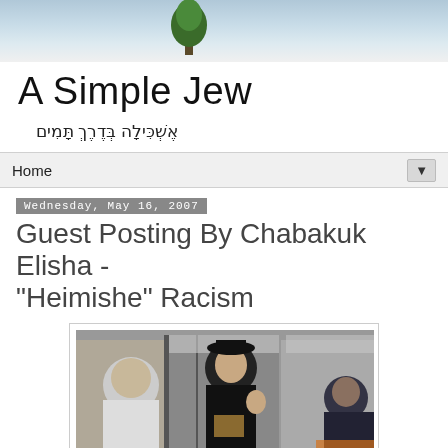[Figure (photo): Header photo showing tree and sky background]
A Simple Jew
אֶשְׁכִּילָה בְּדֶרֶךְ תָּמִים
Home ▼
Wednesday, May 16, 2007
Guest Posting By Chabakuk Elisha - "Heimishe" Racism
[Figure (photo): Black and white photograph of people on a New York City subway train, showing a Hasidic Jewish man in a black hat and coat holding a book, standing near other passengers]